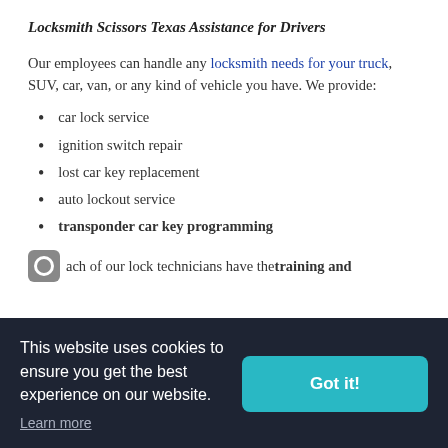Locksmith Scissors Texas Assistance for Drivers
Our employees can handle any locksmith needs for your truck, SUV, car, van, or any kind of vehicle you have. We provide:
car lock service
ignition switch repair
lost car key replacement
auto lockout service
transponder car key programming
Each of our lock technicians have the training and
This website uses cookies to ensure you get the best experience on our website. Learn more Got it!